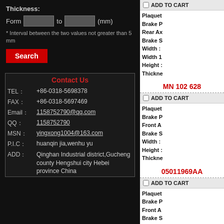Thickness:
Form [input] to [input] (mm)
* Interval between the two values not greater than 5 mm
Search
Contact Us
| TEL： | +86-0318-5698378 |
| FAX： | +86-0318-5697469 |
| Email： | 1158752790@qq.com |
| QQ： | 1158752790 |
| MSN： | yingxong1004@163.com |
| P.I.C： | huanqin jia,wenhu yu |
| ADD： | Qinghan Industrial district,Gucheng county Hengshui city Hebei province China |
ADD TO CART
Plaque... Brake P... Rear Ax... Brake S... Width :... Width 1... Height :... Thickness...
MN 102 628
ADD TO CART
Plaque... Brake P... Front A... Brake S... Width :... Height :... Thickness...
05011969AA
ADD TO CART
Plaque... Brake P... Front A... Brake S... Width :... Width 1... Height... Height :... Thickness... Thickness...
D6TZ-2001-D